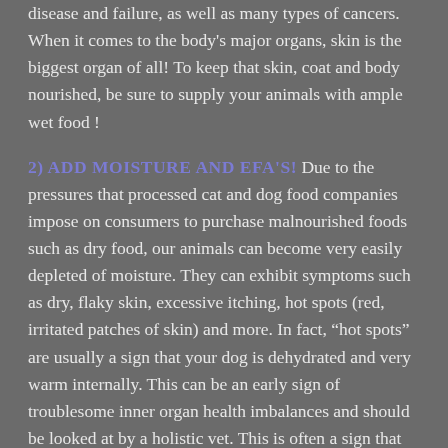disease and failure, as well as many types of cancers. When it comes to the body's major organs, skin is the biggest organ of all! To keep that skin, coat and body nourished, be sure to supply your animals with ample wet food !
2) ADD MOISTURE AND EFA'S! Due to the pressures that processed cat and dog food companies impose on consumers to purchase malnourished foods such as dry food, our animals can become very easily depleted of moisture. They can exhibit symptoms such as dry, flaky skin, excessive itching, hot spots (red, irritated patches of skin) and more. In fact, “hot spots” are usually a sign that your dog is dehydrated and very warm internally. This can be an early sign of troublesome inner organ health imbalances and should be looked at by a holistic vet. This is often a sign that moisture is not being evenly distributed within the body and it is direly affecting the skin. By